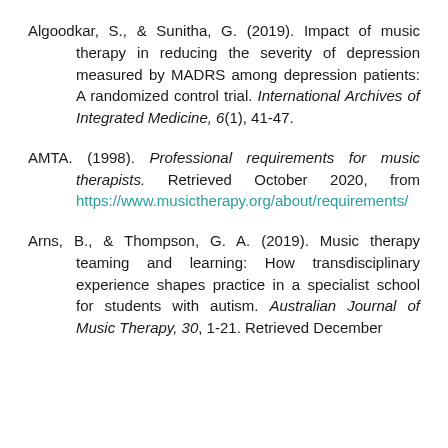Algoodkar, S., & Sunitha, G. (2019). Impact of music therapy in reducing the severity of depression measured by MADRS among depression patients: A randomized control trial. International Archives of Integrated Medicine, 6(1), 41-47.
AMTA. (1998). Professional requirements for music therapists. Retrieved October 2020, from https://www.musictherapy.org/about/requirements/
Arns, B., & Thompson, G. A. (2019). Music therapy teaming and learning: How transdisciplinary experience shapes practice in a specialist school for students with autism. Australian Journal of Music Therapy, 30, 1-21. Retrieved December 2001, from